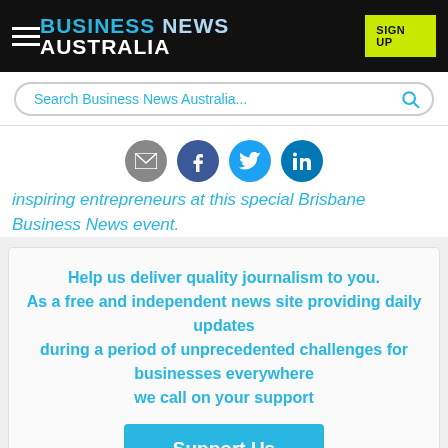BUSINESS NEWS AUSTRALIA | SIGN UP
Search Business News Australia...
[Figure (other): Social share icons: email, Facebook, Twitter, LinkedIn]
inspiring entrepreneurs at this special Brisbane Business News event.
Help us deliver quality journalism to you.
As a free and independent news site providing daily updates
during a period of unprecedented challenges for businesses everywhere
we call on your support
Support Us